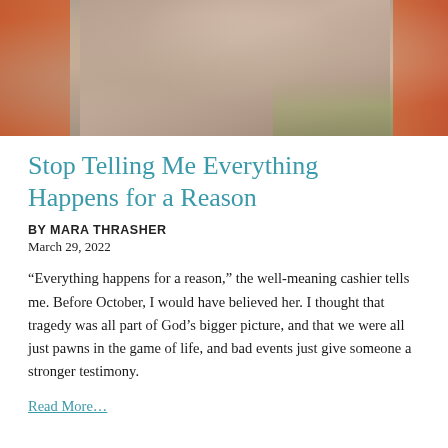[Figure (photo): Photo of a person outdoors in autumn, wearing a floral jacket, flanked by orange elements on left and right, with greenery visible in background.]
Stop Telling Me Everything Happens for a Reason
BY MARA THRASHER
March 29, 2022
“Everything happens for a reason,” the well-meaning cashier tells me. Before October, I would have believed her. I thought that tragedy was all part of God’s bigger picture, and that we were all just pawns in the game of life, and bad events just give someone a stronger testimony.
Read More...